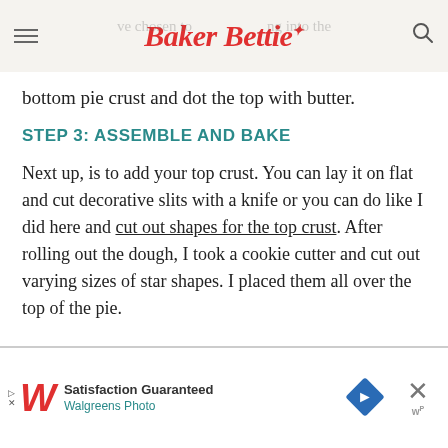Baker Bettie
bottom pie crust and dot the top with butter.
STEP 3: ASSEMBLE AND BAKE
Next up, is to add your top crust. You can lay it on flat and cut decorative slits with a knife or you can do like I did here and cut out shapes for the top crust. After rolling out the dough, I took a cookie cutter and cut out varying sizes of star shapes. I placed them all over the top of the pie.
[Figure (other): Walgreens Photo advertisement banner with logo, 'Satisfaction Guaranteed' text, blue diamond navigation icon, and close button]